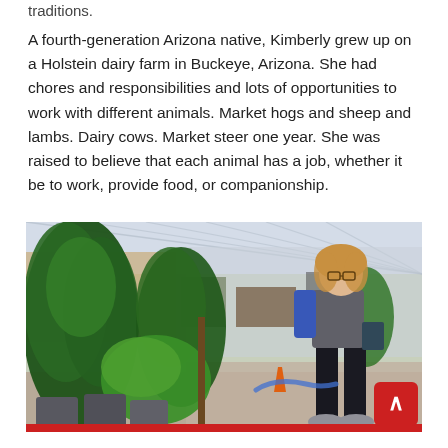traditions.
A fourth-generation Arizona native, Kimberly grew up on a Holstein dairy farm in Buckeye, Arizona. She had chores and responsibilities and lots of opportunities to work with different animals. Market hogs and sheep and lambs. Dairy cows. Market steer one year. She was raised to believe that each animal has a job, whether it be to work, provide food, or companionship.
[Figure (photo): A woman with curly blonde hair and glasses stands inside a greenhouse facility, surrounded by tall green plants in pots. She is wearing a blue and gray shirt with black pants. The greenhouse has a glass ceiling structure visible in the background. There are gravel paths, orange safety cones, and a blue hose visible. Several empty black pots are in the foreground.]